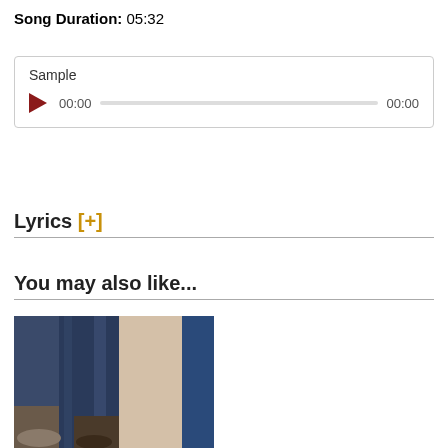Song Duration: 05:32
[Figure (other): Audio sample player widget with play button, progress bar showing 00:00 start and 00:00 end times, labeled 'Sample']
Lyrics [+]
You may also like...
[Figure (photo): Album cover photo showing close-up of person's legs in dark jeans and boots walking, with vertical text 'Peter Link' on the right side spine in blue]